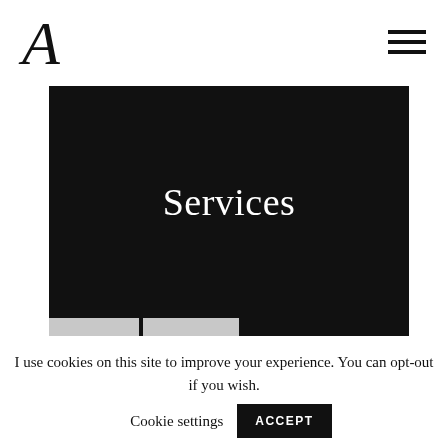A
[Figure (screenshot): Black hero banner with white serif text reading 'Services' centered on a dark background]
I use cookies on this site to improve your experience. You can opt-out if you wish.  Cookie settings  ACCEPT